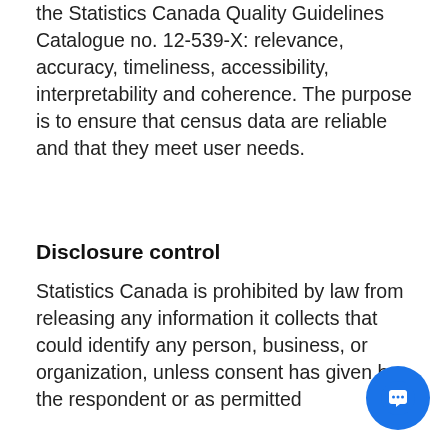the Statistics Canada Quality Guidelines Catalogue no. 12-539-X: relevance, accuracy, timeliness, accessibility, interpretability and coherence. The purpose is to ensure that census data are reliable and that they meet user needs.
Disclosure control
Statistics Canada is prohibited by law from releasing any information it collects that could identify any person, business, or organization, unless consent has given by the respondent or as permitted